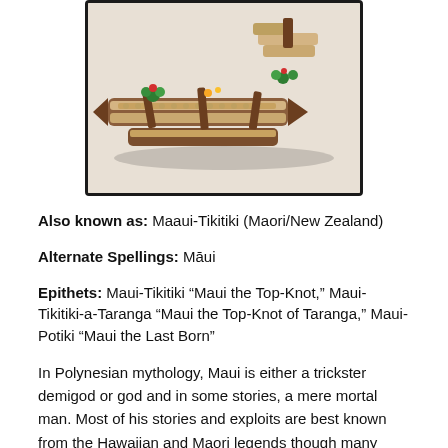[Figure (photo): A LEGO model of a Polynesian canoe or sailing vessel with tan/brown hull pieces, green and red accent pieces, and brown structural elements on a white surface.]
Also known as: Maaui-Tikitiki (Maori/New Zealand)
Alternate Spellings: Māui
Epithets: Maui-Tikitiki “Maui the Top-Knot,” Maui-Tikitiki-a-Taranga “Maui the Top-Knot of Taranga,” Maui-Potiki “Maui the Last Born”
In Polynesian mythology, Maui is either a trickster demigod or god and in some stories, a mere mortal man. Most of his stories and exploits are best known from the Hawaiian and Maori legends though many other Polynesian cultures